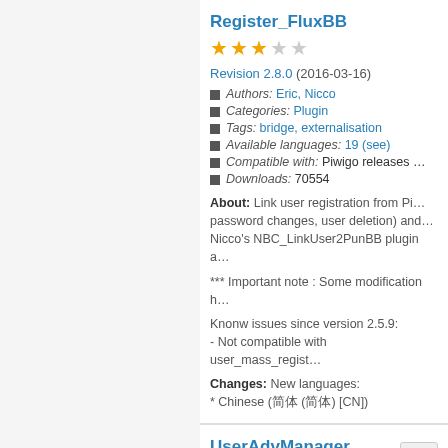Register_FluxBB
Revision 2.8.0 (2016-03-16)
Authors: Eric, Nicco
Categories: Plugin
Tags: bridge, externalisation
Available languages: 19 (see)
Compatible with: Piwigo releases …
Downloads: 70554
About: Link user registration from Pi… password changes, user deletion) and… Nicco's NBC_LinkUser2PunBB plugin a…
*** Important note : Some modification h…
Knonw issues since version 2.5.9:
- Not compatible with user_mass_regist…
Changes: New languages:
* Chinese (简体 (简)) [CN])
UserAdvManager